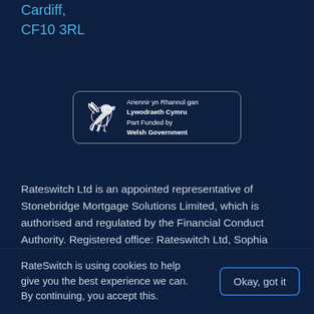Cardiff,
CF10 3RL
[Figure (logo): Welsh Government part-funded badge featuring a dragon logo on the left and bilingual text: 'Ariennir yn Rhannol gan Lywodraeth Cymru / Part Funded by Welsh Government' on the right, with a rounded rectangle border.]
Rateswitch Ltd is an appointed representative of Stonebridge Mortgage Solutions Limited, which is authorised and regulated by the Financial Conduct Authority. Registered office: Rateswitch Ltd, Sophia House, 28 Cathedral Road, Cardiff, CF11 9LJ. Registered company number: 10100327. Registered in England and Wales. Risk warnings: You may have to pay an early repayment charge to your existing lender if you
RateSwitch is using cookies to help give you the best experience we can. By continuing, you accept this.
Okay, got it